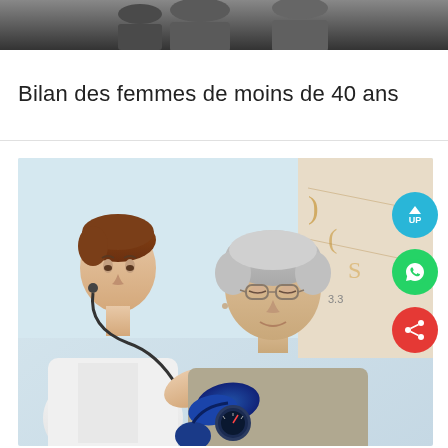[Figure (photo): Top portion of photo showing two people, partially cropped — appears to be people in professional or clinical context]
Bilan des femmes de moins de 40 ans
[Figure (photo): A doctor (young woman with stethoscope and white coat) taking the blood pressure of an elderly woman with grey hair and glasses, in a medical office setting with an anatomical chart visible in the background. Social media buttons (UP, WhatsApp, Share) are overlaid on the right side of the image.]